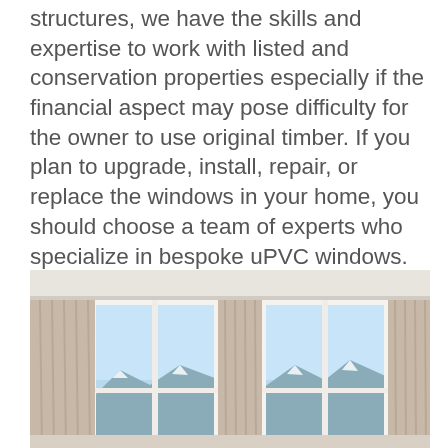structures, we have the skills and expertise to work with listed and conservation properties especially if the financial aspect may pose difficulty for the owner to use original timber. If you plan to upgrade, install, repair, or replace the windows in your home, you should choose a team of experts who specialize in bespoke uPVC windows. For quality, cost-effective uPVC window solution, call Sussex Glazing today. (0) 1273 287 287
[Figure (photo): Interior photo showing tall uPVC windows with pale curtains/drapes on either side, looking out to a scenic view with mountains or hills and blue sky]